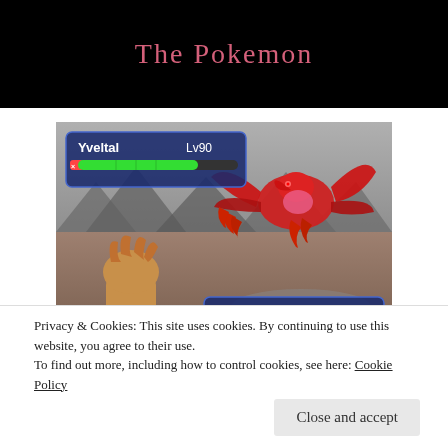The Pokemon
[Figure (screenshot): Pokemon game battle screenshot showing Yveltal at Lv90 with HP bar against Kuu.iuni at Lv40, with a large red dragon-like creature in the upper right and a trainer character in the lower left, set against a grey mountainous background.]
Privacy & Cookies: This site uses cookies. By continuing to use this website, you agree to their use.
To find out more, including how to control cookies, see here: Cookie Policy
Close and accept